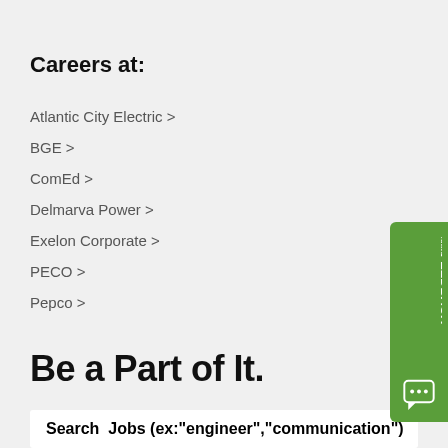Careers at:
Atlantic City Electric >
BGE >
ComEd >
Delmarva Power >
Exelon Corporate >
PECO >
Pepco >
Be a Part of It.
Search  Jobs (ex:"engineer","communication")